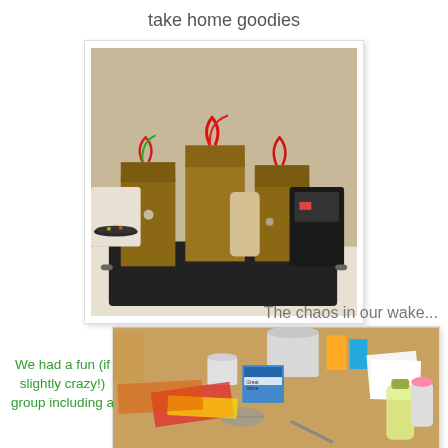take home goodies
[Figure (photo): Brown paper gift bags with red and green ribbon decorations arranged on a black baking tray on a kitchen counter, with a coffee maker and other items visible in the background]
The chaos in our wake...
[Figure (photo): A cluttered kitchen table or counter covered with various food items, containers, boxes, a water bottle, cups, and cooking supplies after a baking session]
We had a fun (if slightly crazy!) group including a